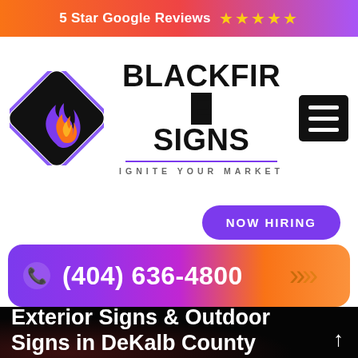5 Star Google Reviews ★★★★★
[Figure (logo): BlackFire Signs logo — purple diamond shape with flame, brand name BLACKFIRE SIGNS, tagline IGNITE YOUR MARKET, hamburger menu icon]
NOW HIRING
(404) 636-4800
Exterior Signs & Outdoor Signs in DeKalb County